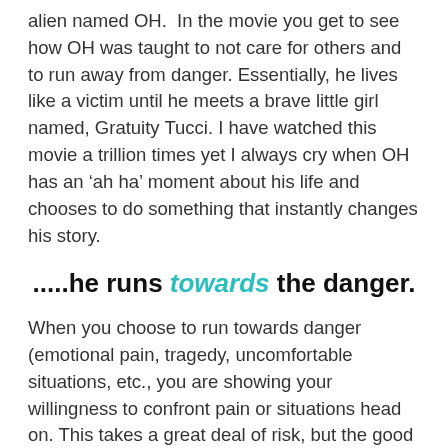alien named OH.  In the movie you get to see how OH was taught to not care for others and to run away from danger. Essentially, he lives like a victim until he meets a brave little girl named, Gratuity Tucci. I have watched this movie a trillion times yet I always cry when OH has an ‘ah ha’ moment about his life and chooses to do something that instantly changes his story.
.....he runs towards the danger.
When you choose to run towards danger (emotional pain, tragedy, uncomfortable situations, etc., you are showing your willingness to confront pain or situations head on. This takes a great deal of risk, but the good waiting on the other side of the pain is worth defending the process. When you look back months, weeks, even years you will see that the pressure from